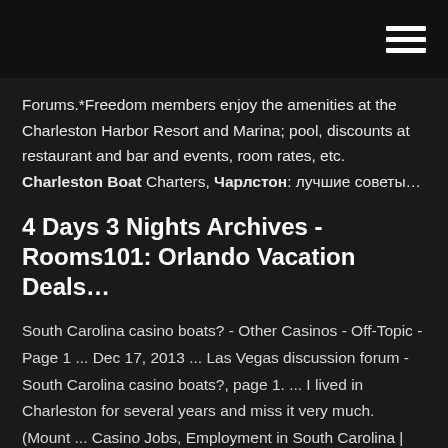[hamburger menu icon]
Forums.*Freedom members enjoy the amenities at the Charleston Harbor Resort and Marina; pool, discounts at restaurant and bar and events, room rates, etc. Charleston Boat Charters, Чарлстон: лучшие советы…
4 Days 3 Nights Archives - Rooms101: Orlando Vacation Deals…
South Carolina casino boats? - Other Casinos - Off-Topic - Page 1 ... Dec 17, 2013 ... Las Vegas discussion forum - South Carolina casino boats?, page 1. ... I lived in Charleston for several years and miss it very much. (Mount ... Casino Jobs, Employment in South Carolina | Indeed.com 30 Casino jobs available in South Carolina on Indeed.com. Apply to Room ... Casino Boat Engineer. The